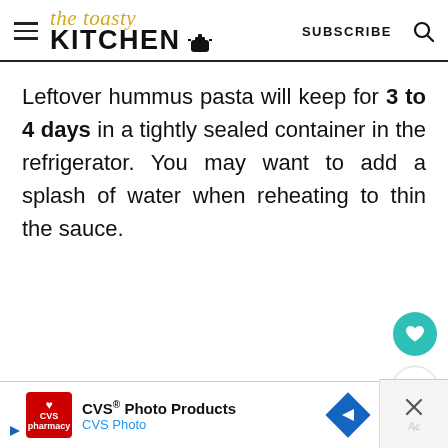The Toasty Kitchen — SUBSCRIBE
Leftover hummus pasta will keep for 3 to 4 days in a tightly sealed container in the refrigerator. You may want to add a splash of water when reheating to thin the sauce.
[Figure (screenshot): CVS Photo Products advertisement banner at the bottom of the page]